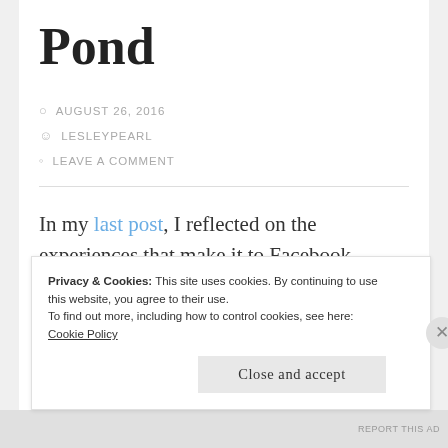Pond
AUGUST 26, 2016
LESLEYPEARL
LEAVE A COMMENT
In my last post, I reflected on the experiences that make it to Facebook,
Privacy & Cookies: This site uses cookies. By continuing to use this website, you agree to their use.
To find out more, including how to control cookies, see here: Cookie Policy
Close and accept
REPORT THIS AD